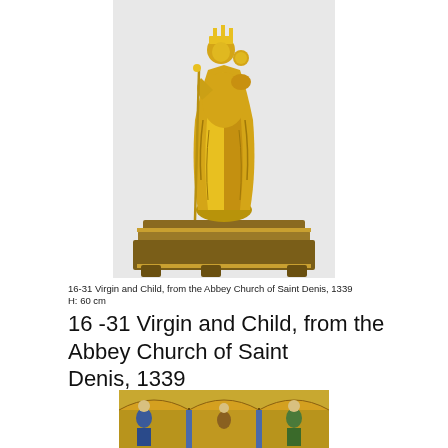[Figure (photo): Golden statue of Virgin and Child, a gilded metal sculpture of Mary holding the Christ child, standing on an ornate decorative base, from the Abbey Church of Saint Denis, 1339]
16-31 Virgin and Child, from the Abbey Church of Saint Denis, 1339
H: 60 cm
16 -31 Virgin and Child, from the Abbey Church of Saint Denis, 1339
[Figure (photo): Medieval illuminated manuscript or enamel panel depicting figures seated under ornate arches with gold and blue coloring, showing enthroned figures in a Romanesque or Gothic style]